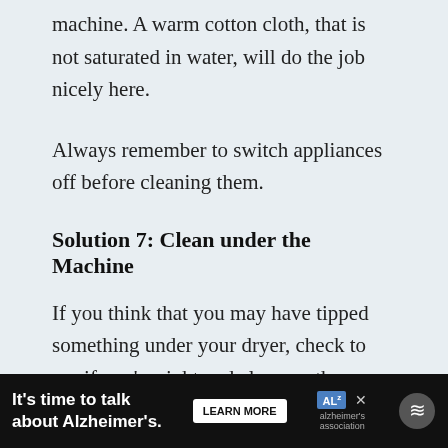Then you need to wipe down the front of the machine. A warm cotton cloth, that is not saturated in water, will do the job nicely here.
Always remember to switch appliances off before cleaning them.
Solution 7: Clean under the Machine
If you think that you may have tipped something under your dryer, check to see if you're right and clean up the mess.
Remember to switch your machine off al... th... ...and...
[Figure (other): Advertisement banner: 'It's time to talk about Alzheimer's.' with a LEARN MORE button and Alzheimer's Association logo]